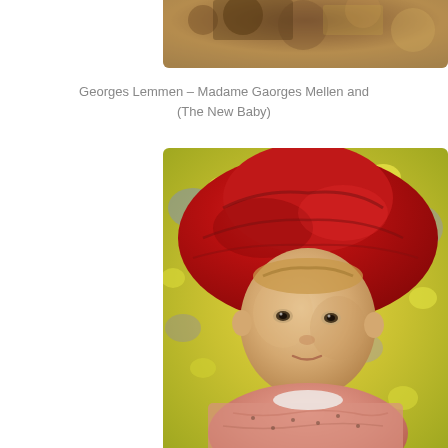[Figure (photo): Top portion of a painting, partially cropped, showing warm brown and golden tones, appears to be part of a larger artwork by Georges Lemmen]
Georges Lemmen – Madame Gaorges Mellen and (The New Baby)
[Figure (photo): Painting of a young child wearing a large red hat and a pink/salmon colored top, with a colorful yellow and blue floral background, painted in a Post-Impressionist pointillist style]